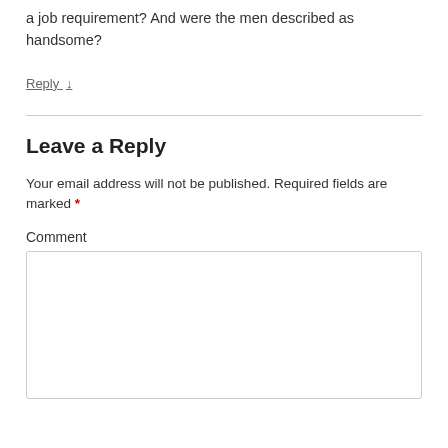a job requirement? And were the men described as handsome?
Reply ↓
Leave a Reply
Your email address will not be published. Required fields are marked *
Comment